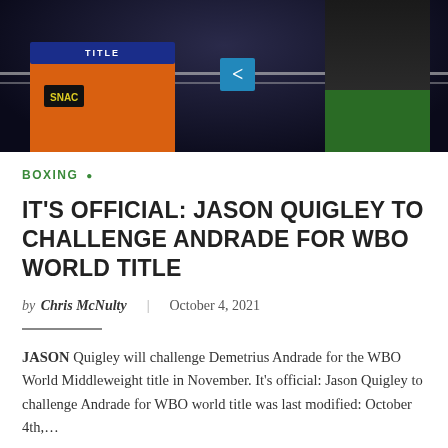[Figure (photo): Two boxers in a boxing ring. Left boxer wears orange shorts with TITLE waistband and SNAC logo. Right boxer wears green shorts with QUIGLEY text visible. Dark arena background with ring ropes.]
BOXING •
IT'S OFFICIAL: JASON QUIGLEY TO CHALLENGE ANDRADE FOR WBO WORLD TITLE
by Chris McNulty | October 4, 2021
JASON Quigley will challenge Demetrius Andrade for the WBO World Middleweight title in November. It's official: Jason Quigley to challenge Andrade for WBO world title was last modified: October 4th,...